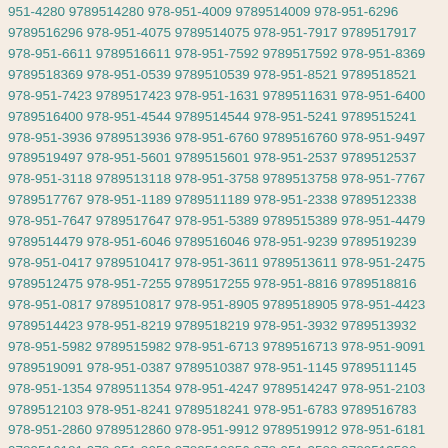951-4280 9789514280 978-951-4009 9789514009 978-951-6296 9789516296 978-951-4075 9789514075 978-951-7917 9789517917 978-951-6611 9789516611 978-951-7592 9789517592 978-951-8369 9789518369 978-951-0539 9789510539 978-951-8521 9789518521 978-951-7423 9789517423 978-951-1631 9789511631 978-951-6400 9789516400 978-951-4544 9789514544 978-951-5241 9789515241 978-951-3936 9789513936 978-951-6760 9789516760 978-951-9497 9789519497 978-951-5601 9789515601 978-951-2537 9789512537 978-951-3118 9789513118 978-951-3758 9789513758 978-951-7767 9789517767 978-951-1189 9789511189 978-951-2338 9789512338 978-951-7647 9789517647 978-951-5389 9789515389 978-951-4479 9789514479 978-951-6046 9789516046 978-951-9239 9789519239 978-951-0417 9789510417 978-951-3611 9789513611 978-951-2475 9789512475 978-951-7255 9789517255 978-951-8816 9789518816 978-951-0817 9789510817 978-951-8905 9789518905 978-951-4423 9789514423 978-951-8219 9789518219 978-951-3932 9789513932 978-951-5982 9789515982 978-951-6713 9789516713 978-951-9091 9789519091 978-951-0387 9789510387 978-951-1145 9789511145 978-951-1354 9789511354 978-951-4247 9789514247 978-951-2103 9789512103 978-951-8241 9789518241 978-951-6783 9789516783 978-951-2860 9789512860 978-951-9912 9789519912 978-951-6181 9789516181 978-951-2056 9789512056 978-951-3520 9789513520 978-951-0967 9789510967 978-951-8250 9789518250 978-951-0058 9789510058 978-951-0518 9789510518 978-951-0055 9789510055 978-951-4689 9789514689 978-951-8913 9789518913 978-951-0017 9789510017 978-951-6929 9789516929 978-951-8268 9789518268 978-